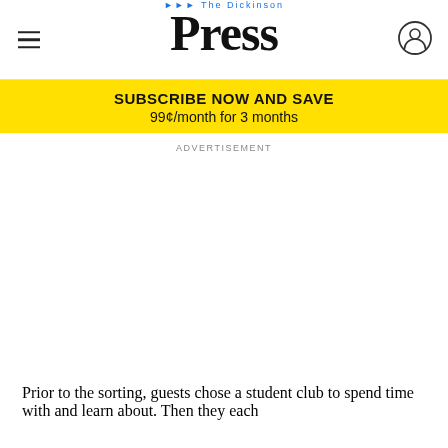The Dickinson Press
[Figure (other): Subscribe now and save banner: SUBSCRIBE NOW AND SAVE / 99¢/month for 3 months]
ADVERTISEMENT
Prior to the sorting, guests chose a student club to spend time with and learn about. Then they each